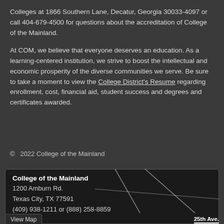Colleges at 1866 Southern Lane, Decatur, Georgia 30033-4097 or call 404-679-4500 for questions about the accreditation of College of the Mainland.
At COM, we believe that everyone deserves an education. As a learning-centered institution, we strive to boost the intellectual and economic prosperity of the diverse communities we serve. Be sure to take a moment to view the College District's Resume regarding enrollment, cost, financial aid, student success and degrees and certificates awarded.
© 2022 College of the Mainland
College of the Mainland
1200 Amburn Rd.
Texas City, TX 77591
(409) 938-1211 or (888) 258-8859
[Figure (map): Partial street map showing road lines with '25th Ave.' label]
View Map